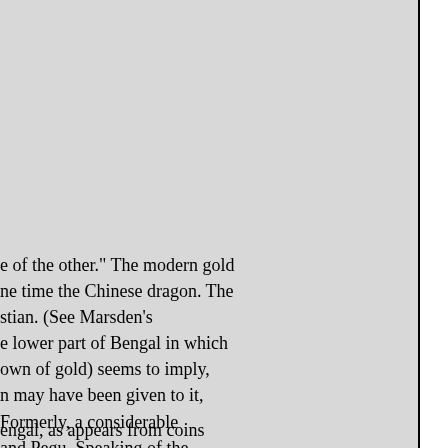e of the other." The modern gold ne time the Chinese dragon. The stian. (See Marsden's e lower part of Bengal in which own of gold) seems to imply, n may have been given to it, Formerly, a considerable and Pegu. Speaking of the ck remarks: save victuals and rought annually from Pegu to in ancient times
engal, as appears from coins , and bearing the dates 754 and
ded by Dr. Robertson as an g sun and at the extremity of situated on the Equator, and is